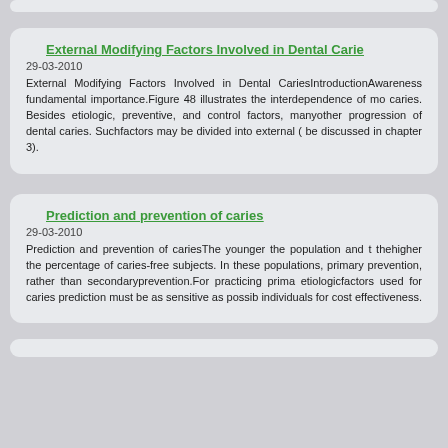External Modifying Factors Involved in Dental Carie
29-03-2010
External Modifying Factors Involved in Dental CariesIntroductionAwareness fundamental importance.Figure 48 illustrates the interdependence of mo caries. Besides etiologic, preventive, and control factors, manyother progression of dental caries. Suchfactors may be divided into external ( be discussed in chapter 3).
Prediction and prevention of caries
29-03-2010
Prediction and prevention of cariesThe younger the population and t thehigher the percentage of caries-free subjects. In these populations, primary prevention, rather than secondaryprevention.For practicing prima etiologicfactors used for caries prediction must be as sensitive as possib individuals for cost effectiveness.